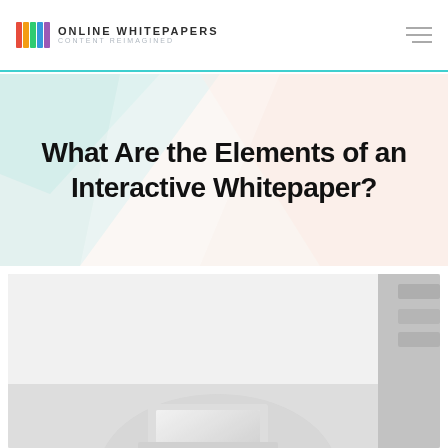ONLINE WHITEPAPERS Content Reimagined
What Are the Elements of an Interactive Whitepaper?
[Figure (photo): Black and white photo of a person working on a laptop at a desk, partially visible from the waist down, with a blurred office background.]